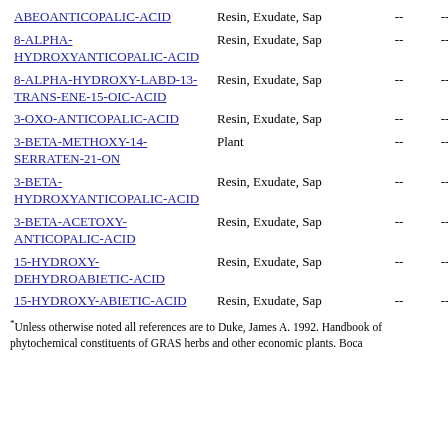| Name | Plant Part | Col1 | Col2 |
| --- | --- | --- | --- |
| ABEOANTICOPALIC-ACID | Resin, Exudate, Sap | -- | -- |
| 8-ALPHA-HYDROXYANTICOPALIC-ACID | Resin, Exudate, Sap | -- | -- |
| 8-ALPHA-HYDROXY-LABD-13-TRANS-ENE-15-OIC-ACID | Resin, Exudate, Sap | -- | -- |
| 3-OXO-ANTICOPALIC-ACID | Resin, Exudate, Sap | -- | -- |
| 3-BETA-METHOXY-14-SERRATEN-21-ON | Plant | -- | -- |
| 3-BETA-HYDROXYANTICOPALIC-ACID | Resin, Exudate, Sap | -- | -- |
| 3-BETA-ACETOXY-ANTICOPALIC-ACID | Resin, Exudate, Sap | -- | -- |
| 15-HYDROXY-DEHYDROABIETIC-ACID | Resin, Exudate, Sap | -- | -- |
| 15-HYDROXY-ABIETIC-ACID | Resin, Exudate, Sap | -- | -- |
*Unless otherwise noted all references are to Duke, James A. 1992. Handbook of phytochemical constituents of GRAS herbs and other economic plants. Boca